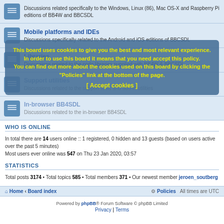Discussions related specifically to the Windows, Linux (86), Mac OS-X and Raspberry Pi editions of BB4W and BBCSDL
Mobile platforms and IDEs
Discussions specifically related to the Android and iOS editions of BBCSDL
Libraries
Discussions related to the code libraries supplied with BB4W & BBCSDL
Support utilities
Discussions related to the support tools and add-in utilities
In-browser BB4SDL
Discussions related to the in-browser BB4SDL
This board uses cookies to give you the best and most relevant experience. In order to use this board it means that you need accept this policy.
You can find out more about the cookies used on this board by clicking the "Policies" link at the bottom of the page.
[ Accept cookies ]
WHO IS ONLINE
In total there are 14 users online :: 1 registered, 0 hidden and 13 guests (based on users active over the past 5 minutes)
Most users ever online was 547 on Thu 23 Jan 2020, 03:57
STATISTICS
Total posts 3174 • Total topics 585 • Total members 371 • Our newest member jeroen_soutberg
Home • Board index | Policies | All times are UTC
Powered by phpBB® Forum Software © phpBB Limited
Privacy | Terms